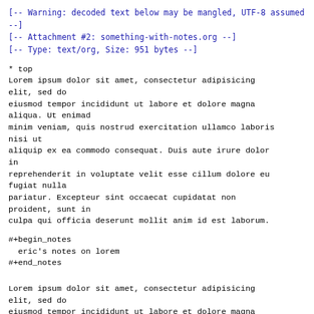[-- Warning: decoded text below may be mangled, UTF-8 assumed --]
[-- Attachment #2: something-with-notes.org --]
[-- Type: text/org, Size: 951 bytes --]
* top
Lorem ipsum dolor sit amet, consectetur adipisicing elit, sed do
eiusmod tempor incididunt ut labore et dolore magna aliqua. Ut enimad
minim veniam, quis nostrud exercitation ullamco laboris nisi ut
aliquip ex ea commodo consequat. Duis aute irure dolor in
reprehenderit in voluptate velit esse cillum dolore eu fugiat nulla
pariatur. Excepteur sint occaecat cupidatat non proident, sunt in
culpa qui officia deserunt mollit anim id est laborum.
#+begin_notes
  eric's notes on lorem
#+end_notes
Lorem ipsum dolor sit amet, consectetur adipisicing elit, sed do
eiusmod tempor incididunt ut labore et dolore magna aliqua. Ut enimad